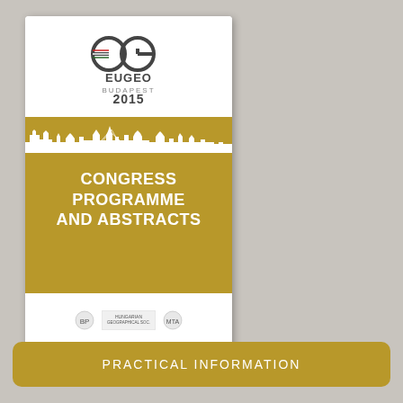[Figure (illustration): Cover page of EUGEO Budapest 2015 Congress Programme and Abstracts booklet. Shows EG logo at top, Budapest skyline silhouette in gold/white, text 'CONGRESS PROGRAMME AND ABSTRACTS' in white on gold background, sponsor logos, and website URL WWW.EUGEO2015.COM in footer bar.]
PRACTICAL INFORMATION